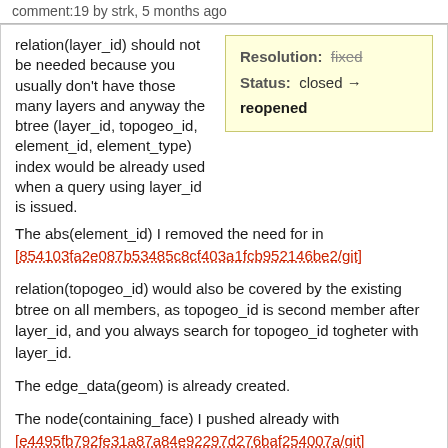comment:19 by strk, 5 months ago
relation(layer_id) should not be needed because you usually don't have those many layers and anyway the btree (layer_id, topogeo_id, element_id, element_type) index would be already used when a query using layer_id is issued.
Resolution: fixed
Status: closed → reopened
The abs(element_id) I removed the need for in [854103fa2e087b53485c8cf403a1fcb952146be2/git]
relation(topogeo_id) would also be covered by the existing btree on all members, as topogeo_id is second member after layer_id, and you always search for topogeo_id togheter with layer_id.
The edge_data(geom) is already created.
The node(containing_face) I pushed already with [e4495fb792fe31a87a84e92297d276baf254007a/git]
The only left over are the indices on abs_next_{left,right}_edge which I guess would be useful